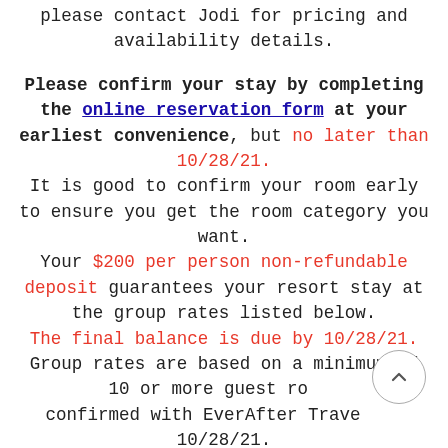please contact Jodi for pricing and availability details.
Please confirm your stay by completing the online reservation form at your earliest convenience, but no later than 10/28/21. It is good to confirm your room early to ensure you get the room category you want. Your $200 per person non-refundable deposit guarantees your resort stay at the group rates listed below. The final balance is due by 10/28/21. Group rates are based on a minimum of 10 or more guest rooms confirmed with EverAfter Travel by 10/28/21.